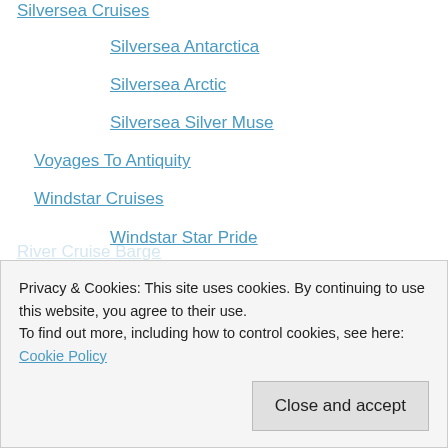Silversea Cruises
Silversea Antarctica
Silversea Arctic
Silversea Silver Muse
Voyages To Antiquity
Windstar Cruises
Windstar Star Pride
Big Trip 2016: World Cruise
River Cruise Barge
CroisEurope Canal Barge
Privacy & Cookies: This site uses cookies. By continuing to use this website, you agree to their use.
To find out more, including how to control cookies, see here: Cookie Policy
Close and accept